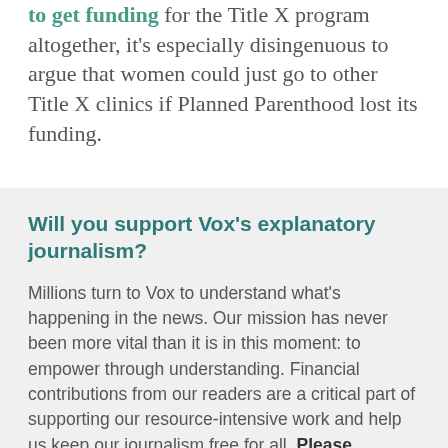to get funding for the Title X program altogether, it's especially disingenuous to argue that women could just go to other Title X clinics if Planned Parenthood lost its funding.
Will you support Vox's explanatory journalism?
Millions turn to Vox to understand what's happening in the news. Our mission has never been more vital than it is in this moment: to empower through understanding. Financial contributions from our readers are a critical part of supporting our resource-intensive work and help us keep our journalism free for all. Please consider making a contribution to Vox today.